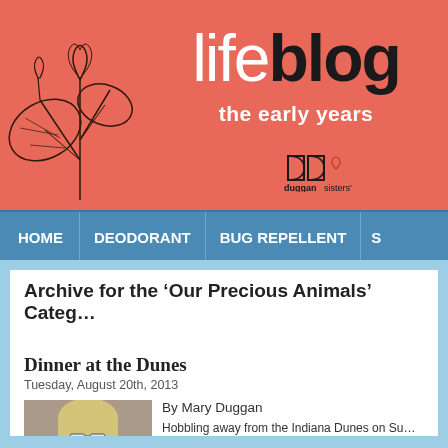[Figure (illustration): Blog header banner with coral/salmon background featuring a lotus flower line drawing on the left, 'lifeblog the early years' title text in center-right, and Duggan Sisters logo below]
lifeblog the early years — duggan sisters
HOME   DEODORANT   BUG REPELLENT   S
Archive for the ‘Our Precious Animals’ Categ…
Dinner at the Dunes
Tuesday, August 20th, 2013
By Mary Duggan
Hobbling away from the Indiana Dunes on Su… worried that I was losing my beach mojo. It re…